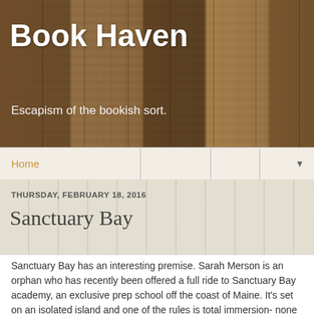Book Haven
Escapism of the bookish sort.
Home ▼
THURSDAY, FEBRUARY 18, 2016
Sanctuary Bay
Sanctuary Bay has an interesting premise. Sarah Merson is an orphan who has recently been offered a full ride to Sanctuary Bay academy, an exclusive prep school off the coast of Maine. It's set on an isolated island and one of the rules is total immersion- none of the students can leave until they graduate. See where this is going? Sarah's story is tragic- she saw her parents killed when she was very young- and she has no idea